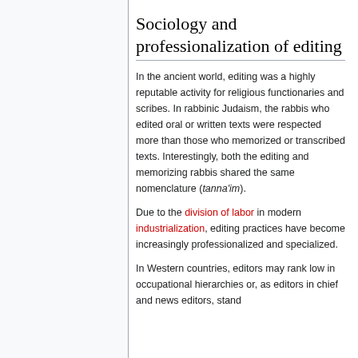Sociology and professionalization of editing
In the ancient world, editing was a highly reputable activity for religious functionaries and scribes. In rabbinic Judaism, the rabbis who edited oral or written texts were respected more than those who memorized or transcribed texts. Interestingly, both the editing and memorizing rabbis shared the same nomenclature (tanna'im).
Due to the division of labor in modern industrialization, editing practices have become increasingly professionalized and specialized.
In Western countries, editors may rank low in occupational hierarchies or, as editors in chief and news editors, stand